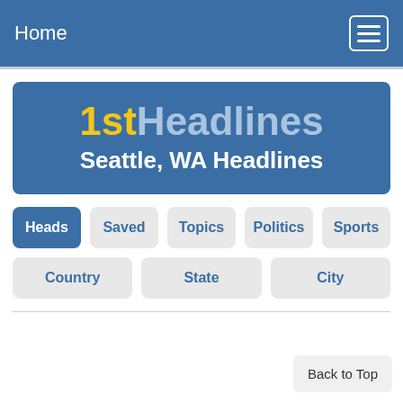Home
1stHeadlines Seattle, WA Headlines
Heads
Saved
Topics
Politics
Sports
Country
State
City
Back to Top